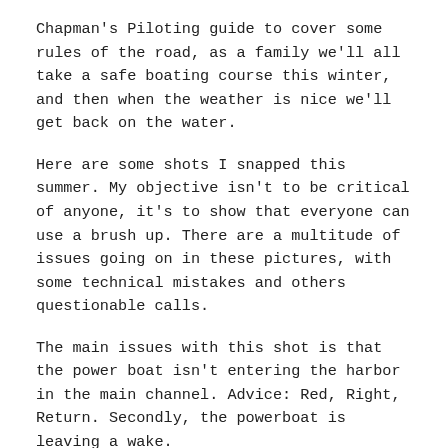Chapman's Piloting guide to cover some rules of the road, as a family we'll all take a safe boating course this winter, and then when the weather is nice we'll get back on the water.
Here are some shots I snapped this summer. My objective isn't to be critical of anyone, it's to show that everyone can use a brush up. There are a multitude of issues going on in these pictures, with some technical mistakes and others questionable calls.
The main issues with this shot is that the power boat isn't entering the harbor in the main channel. Advice: Red, Right, Return. Secondly, the powerboat is leaving a wake.
Advice: Leave absolutely no wake in a no wake zone. A third issue is that the folks in both the power boat as well as the sail boat aren't wearing life jackets. Advice: By the time you need a life vest it's probably too late. With so many low profile and comfortable options available, there's no excuse that everyone on a boat isn't wearing one.